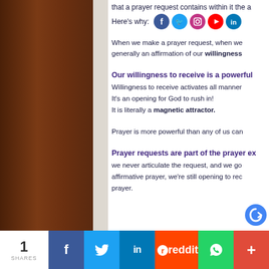[Figure (screenshot): Dark brown wooden texture sidebar on the left portion of the page]
that a prayer request contains within it the a
Here's why:
[Figure (infographic): Social media icons row: Facebook, Twitter, Instagram, YouTube, LinkedIn]
When we make a prayer request, when we generally an affirmation of our willingness
Our willingness to receive is a powerful
Willingness to receive activates all manner It's an opening for God to rush in! It is literally a magnetic attractor.
Prayer is more powerful than any of us can
Prayer requests are part of the prayer ex
we never articulate the request, and we go affirmative prayer, we're still opening to rec prayer.
1 SHARES  [Facebook] [Twitter] [LinkedIn] [Reddit] [WhatsApp] [More]